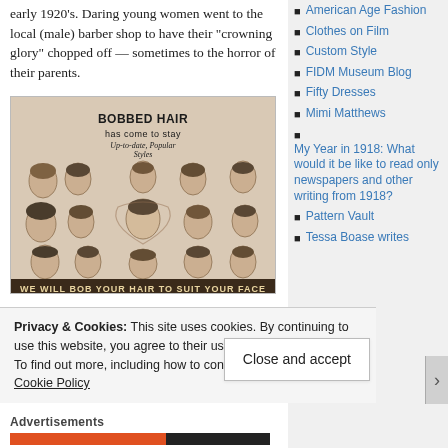early 1920's. Daring young women went to the local (male) barber shop to have their “crowning glory” chopped off — sometimes to the horror of their parents.
[Figure (photo): Vintage advertisement showing multiple women with bobbed hairstyles. Text reads 'BOBBED HAIR has come to stay — Up-to-date, Popular Styles' and at the bottom 'WE WILL BOB YOUR HAIR TO SUIT YOUR FACE'.]
American Age Fashion
Clothes on Film
Custom Style
FIDM Museum Blog
Fifty Dresses
Mimi Matthews
My Year in 1918: What would it be like to read only newspapers and other writing from 1918?
Pattern Vault
Tessa Boase writes
Privacy & Cookies: This site uses cookies. By continuing to use this website, you agree to their use.
To find out more, including how to control cookies, see here: Cookie Policy
Close and accept
Advertisements